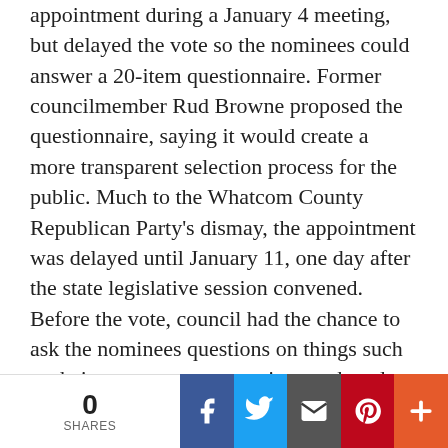appointment during a January 4 meeting, but delayed the vote so the nominees could answer a 20-item questionnaire. Former councilmember Rud Browne proposed the questionnaire, saying it would create a more transparent selection process for the public. Much to the Whatcom County Republican Party's dismay, the appointment was delayed until January 11, one day after the state legislative session convened. Before the vote, council had the chance to ask the nominees questions on things such as their stance on encouraging mask and vaccine use and their top priorities, among other individual questions. Elenbaas said, if appointed, he planned to continue serving on county council, which raised a debate among councilmembers on whether Elenbaas would be doing a disservice to constituents if he tried to fulfill both roles.
During the January 11 meeting, councilmembers Todd
0 SHARES | Facebook | Twitter | Email | Pinterest | More